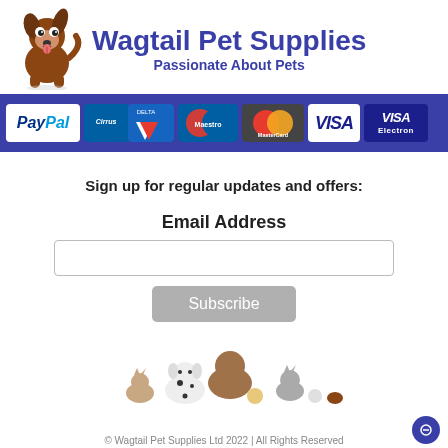[Figure (logo): Wagtail Pet Supplies logo with cartoon dog and brand name]
[Figure (infographic): Payment methods banner showing PayPal, Cirrus, Delta, Maestro, MasterCard, Visa, Visa Electron logos on blue background]
Sign up for regular updates and offers:
Email Address
[Figure (photo): Group of various pets including dogs, cats, and small animals sitting together]
© Wagtail Pet Supplies Ltd 2022 | All Rights Reserved